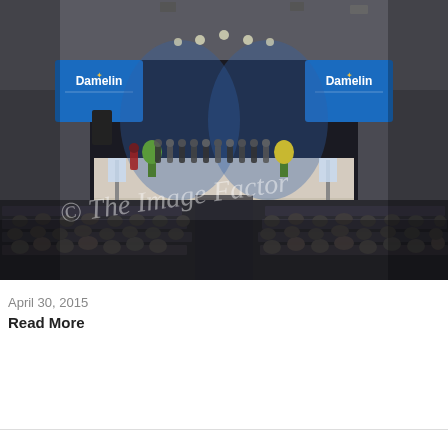[Figure (photo): Interior photograph of a large auditorium during a Damelin graduation ceremony. The stage is lit with blue lights and features two large screens displaying the 'Damelin' logo/branding. Graduates and faculty are seated on stage. The audience seating area is filled with attendees. A watermark reading '© The Image Factor' is overlaid on the photograph in white cursive script.]
April 30, 2015
Read More